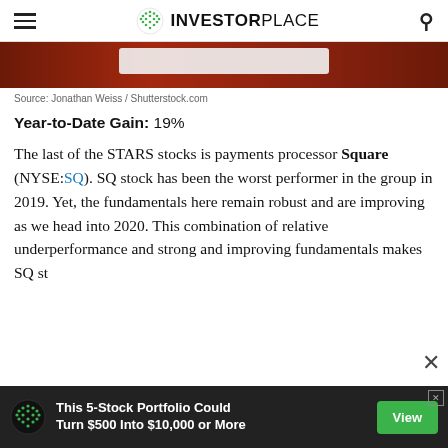INVESTORPLACE
[Figure (photo): Partial view of a dark reddish-brown background with a white card/object visible, likely a credit card or payment terminal. InvestorPlace article image.]
Source: Jonathan Weiss / Shutterstock.com
Year-to-Date Gain: 19%
The last of the STARS stocks is payments processor Square (NYSE:SQ). SQ stock has been the worst performer in the group in 2019. Yet, the fundamentals here remain robust and are improving as we head into 2020. This combination of relative underperformance and strong and improving fundamentals makes SQ st
[Figure (infographic): Advertisement banner: This 5-Stock Portfolio Could Turn $500 Into $10,000 or More. Green View button. InvestorPlace logo icon.]